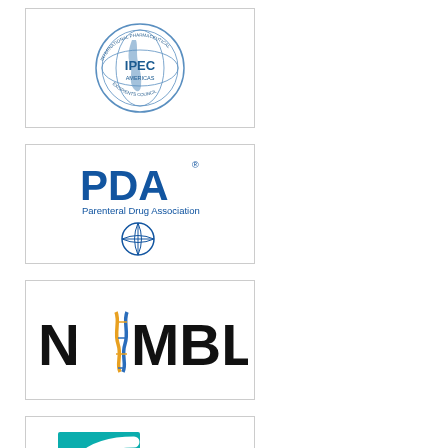[Figure (logo): IPEC Americas - International Pharmaceutical Excipients Council logo, circular badge with globe and text]
[Figure (logo): PDA - Parenteral Drug Association logo, blue globe design with PDA text]
[Figure (logo): NIIMBL logo - black bold text with colorful DNA helix replacing letter I]
[Figure (logo): TOPRA logo - teal square with white arc design and TOPRA text]
[Figure (logo): FDLI - Food and Drug Law Institute logo with red triangle and text]